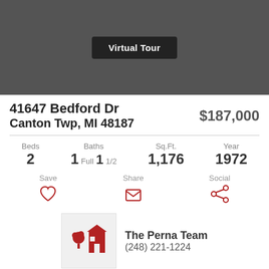[Figure (photo): Dark gray photo area with Virtual Tour button overlay]
41647 Bedford Dr
Canton Twp, MI 48187
$187,000
Beds 2  Baths 1 Full 1 1/2  Sq.Ft. 1,176  Year 1972
Save  Share  Social
The Perna Team
(248) 221-1224
Ask a Question